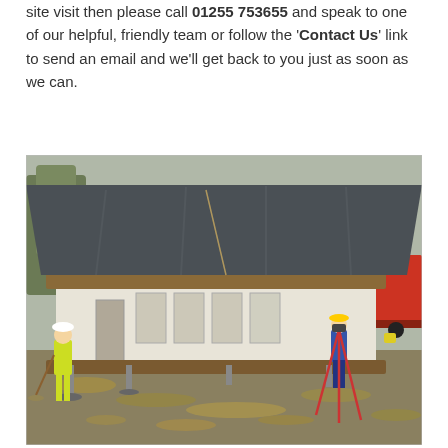site visit then please call 01255 753655 and speak to one of our helpful, friendly team or follow the 'Contact Us' link to send an email and we'll get back to you just as soon as we can.
[Figure (photo): Construction site photo showing a modular building being installed. A worker in a high-visibility jacket and hard hat stands on the left sweeping the ground. Another worker in a hard hat is on the right using surveying equipment on a tripod. The building has a large dark grey tarpaulin covering its roof, and is elevated on temporary supports. Fallen autumn leaves cover the ground. A red truck is visible in the background.]